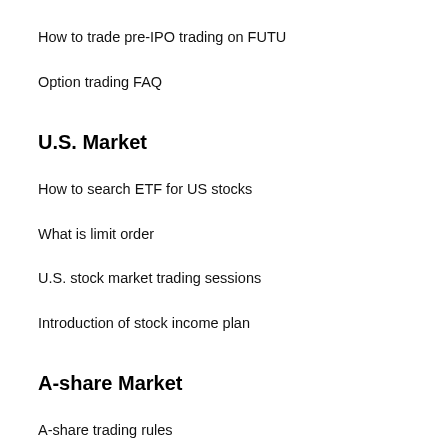How to trade pre-IPO trading on FUTU
Option trading FAQ
U.S. Market
How to search ETF for US stocks
What is limit order
U.S. stock market trading sessions
Introduction of stock income plan
A-share Market
A-share trading rules